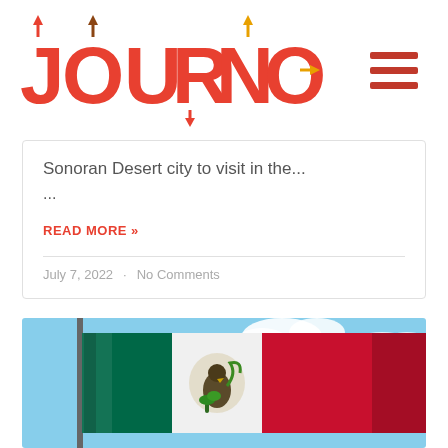[Figure (logo): JOURNO travel blog logo with red text and colorful arrow decorations on letters, plus hamburger menu icon]
Sonoran Desert city to visit in the...
...
READ MORE »
July 7, 2022  ·  No Comments
[Figure (photo): Mexican flag waving against a blue sky with clouds, showing green, white and red vertical stripes with the national coat of arms eagle in the center]